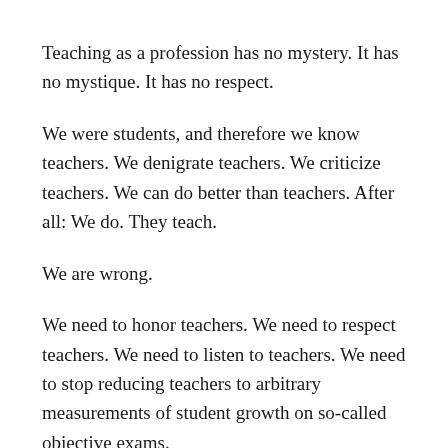Teaching as a profession has no mystery. It has no mystique. It has no respect.
We were students, and therefore we know teachers. We denigrate teachers. We criticize teachers. We can do better than teachers. After all: We do. They teach.
We are wrong.
We need to honor teachers. We need to respect teachers. We need to listen to teachers. We need to stop reducing teachers to arbitrary measurements of student growth on so-called objective exams.
Most of all, we need to stop thinking that we know anything about teaching merely by virtue of having